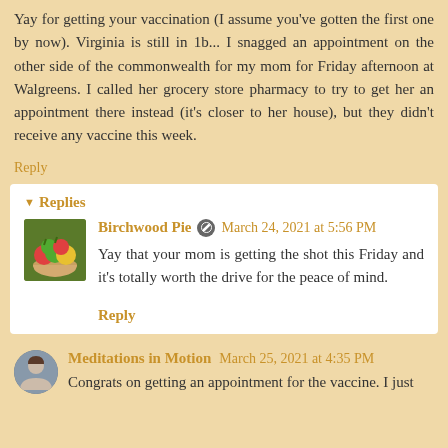Yay for getting your vaccination (I assume you've gotten the first one by now). Virginia is still in 1b... I snagged an appointment on the other side of the commonwealth for my mom for Friday afternoon at Walgreens. I called her grocery store pharmacy to try to get her an appointment there instead (it's closer to her house), but they didn't receive any vaccine this week.
Reply
▾ Replies
Birchwood Pie  March 24, 2021 at 5:56 PM
Yay that your mom is getting the shot this Friday and it's totally worth the drive for the peace of mind.
Reply
Meditations in Motion  March 25, 2021 at 4:35 PM
Congrats on getting an appointment for the vaccine. I just